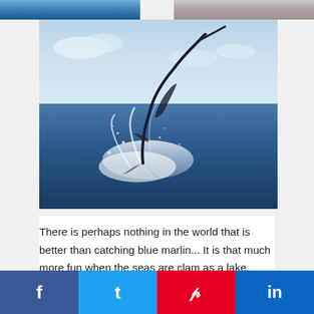[Figure (photo): Top partial strip showing two cropped photos: left appears to be ocean/water scene, right appears to be another outdoor scene — both cropped at top of page]
[Figure (photo): A blue marlin leaping out of the ocean, spraying white water, with deep blue sea and light sky in background]
There is perhaps nothing in the world that is better than catching blue marlin... It is that much more fun when the seas are clam as a lake. Photos
f  t  p  in (social sharing bar with Facebook, Twitter, Pinterest, LinkedIn)